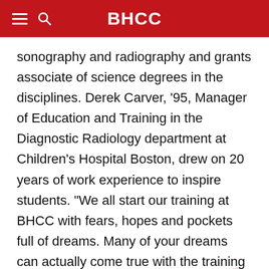BHCC
sonography and radiography and grants associate of science degrees in the disciplines. Derek Carver, ‘95, Manager of Education and Training in the Diagnostic Radiology department at Children's Hospital Boston, drew on 20 years of work experience to inspire students. “We all start our training at BHCC with fears, hopes and pockets full of dreams. Many of your dreams can actually come true with the training that BHCC offers. I know mine did.”

Many graduates have already secured positions